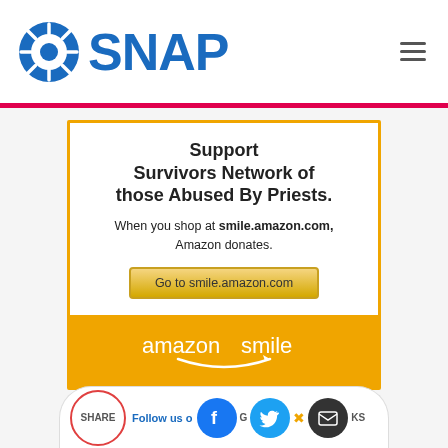SNAP
[Figure (logo): SNAP logo with blue sunburst icon and blue SNAP text]
[Figure (infographic): Amazon Smile donation card: Support Survivors Network of those Abused By Priests. When you shop at smile.amazon.com, Amazon donates. Button: Go to smile.amazon.com. Footer: amazonsmile logo.]
[Figure (infographic): Share and Follow us on social media bar with Facebook, Twitter, and email icons]